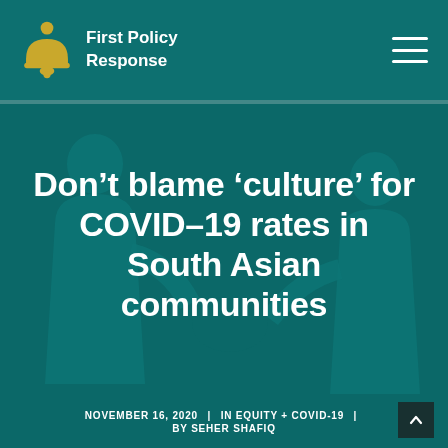First Policy Response
Don’t blame ‘culture’ for COVID-19 rates in South Asian communities
NOVEMBER 16, 2020  |  IN EQUITY + COVID-19  |  BY SEHER SHAFIQ